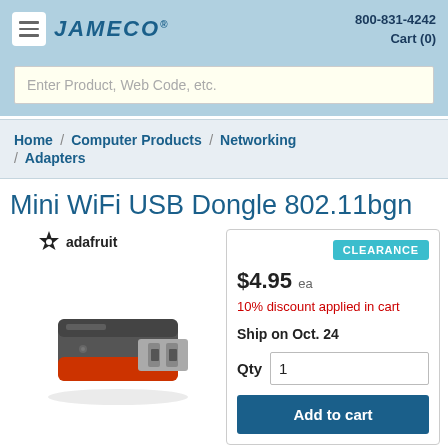JAMECO® | 800-831-4242 | Cart (0)
Enter Product, Web Code, etc.
Home / Computer Products / Networking / Adapters
Mini WiFi USB Dongle 802.11bgn
[Figure (photo): Photo of Mini WiFi USB Dongle 802.11bgn (small black/red USB dongle) with Adafruit logo above]
CLEARANCE
$4.95 ea
10% discount applied in cart
Ship on Oct. 24
Qty 1
Add to cart